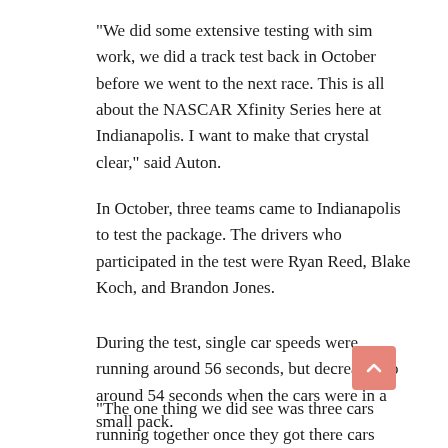“We did some extensive testing with sim work, we did a track test back in October before we went to the next race. This is all about the NASCAR Xfinity Series here at Indianapolis. I want to make that crystal clear,” said Auton.
In October, three teams came to Indianapolis to test the package. The drivers who participated in the test were Ryan Reed, Blake Koch, and Brandon Jones.
During the test, single car speeds were running around 56 seconds, but decreased to around 54 seconds when the cars were in a small pack.
“The one thing we did see was three cars running together once they got there cars dialed in is that halfway down the